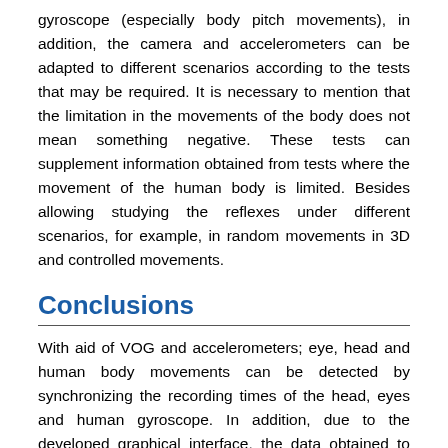gyroscope (especially body pitch movements), in addition, the camera and accelerometers can be adapted to different scenarios according to the tests that may be required. It is necessary to mention that the limitation in the movements of the body does not mean something negative. These tests can supplement information obtained from tests where the movement of the human body is limited. Besides allowing studying the reflexes under different scenarios, for example, in random movements in 3D and controlled movements.
Conclusions
With aid of VOG and accelerometers; eye, head and human body movements can be detected by synchronizing the recording times of the head, eyes and human gyroscope. In addition, due to the developed graphical interface, the data obtained to determine the angles of the head and eye positions could be processed. With these data it was possible to